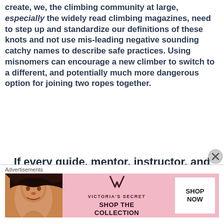create, we, the climbing community at large, especially the widely read climbing magazines, need to step up and standardize our definitions of these knots and not use mis-leading negative sounding catchy names to describe safe practices. Using misnomers can encourage a new climber to switch to a different, and potentially much more dangerous option for joining two ropes together.
If every guide, mentor, instructor, and tenured climber starts referring to these knots with the correct
Advertisements
[Figure (other): Victoria's Secret advertisement with a woman's photo on the left, VS logo and brand name in center, text 'SHOP THE COLLECTION', and a white 'SHOP NOW' button on the right, on a pink background.]